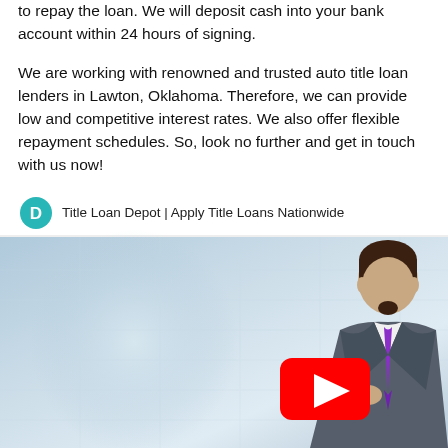to repay the loan. We will deposit cash into your bank account within 24 hours of signing.
We are working with renowned and trusted auto title loan lenders in Lawton, Oklahoma. Therefore, we can provide low and competitive interest rates. We also offer flexible repayment schedules. So, look no further and get in touch with us now!
[Figure (screenshot): YouTube video embed preview showing the Title Loan Depot channel icon (teal circle with white 'D'), video title 'Title Loan Depot | Apply Title Loans Nationwide', and an animated 3D character in a suit with a purple tie against a light blue background, with a YouTube play button overlay.]